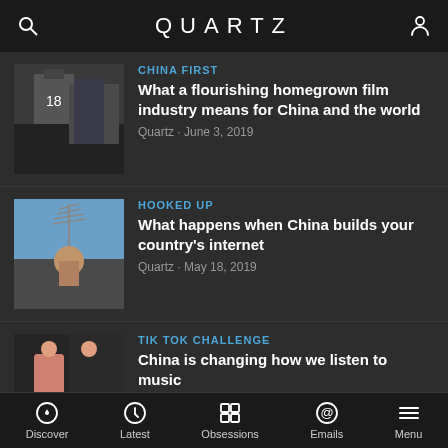QUARTZ
CHINA FIRST
What a flourishing homegrown film industry means for China and the world
Quartz · June 3, 2019
HOOKED UP
What happens when China builds your country's internet
Quartz · May 18, 2019
TIK TOK CHALLENGE
China is changing how we listen to music
Quartz · May 4, 2019
CHINA 101
How Western universities are changing to meet the needs of their many Chinese students
Discover  Latest  Obsessions  Emails  Menu